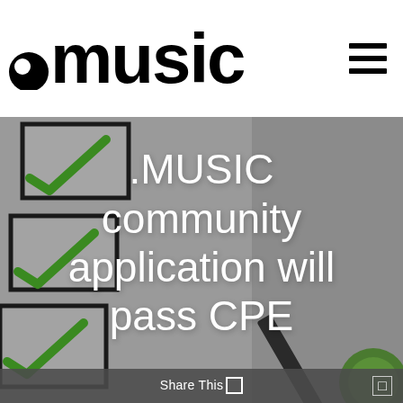.music
[Figure (photo): Background photo of a checklist paper with green checkmarks, a dark pencil, and a green microphone head visible at bottom right. Gray/muted tones overlay.]
.MUSIC community application will pass CPE
Share This